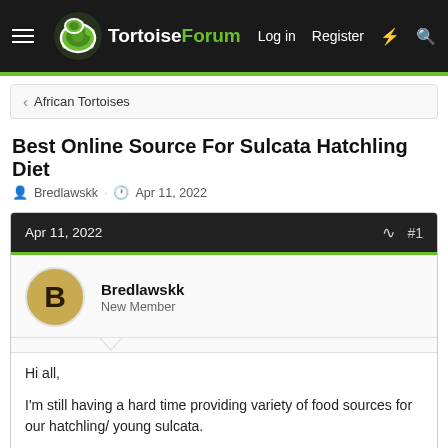TortoiseForum  Log in  Register
African Tortoises
Best Online Source For Sulcata Hatchling Diet
Bredlawskk · Apr 11, 2022
Apr 11, 2022  #1
Bredlawskk
New Member
Hi all,

I'm still having a hard time providing variety of food sources for our hatchling/ young sulcata.

Does anyone have advice for places you can purchase good foods online for your sulcata? What do you all feed your hatchling/ young sulcatas?